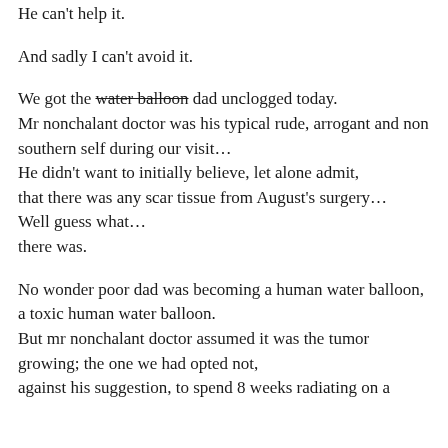He can't help it.
And sadly I can't avoid it.
We got the water balloon dad unclogged today.
Mr nonchalant doctor was his typical rude, arrogant and non southern self during our visit…
He didn't want to initially believe, let alone admit,
that there was any scar tissue from August's surgery…
Well guess what…
there was.
No wonder poor dad was becoming a human water balloon,
a toxic human water balloon.
But mr nonchalant doctor assumed it was the tumor growing; the one we had opted not,
against his suggestion, to spend 8 weeks radiating on a child's...